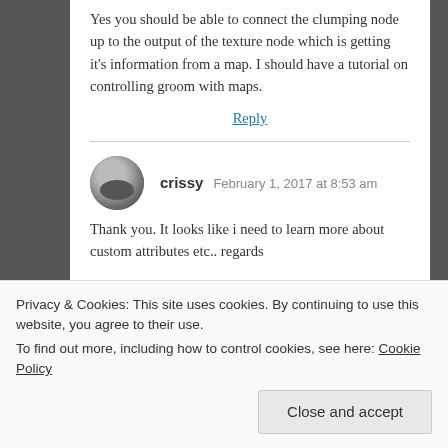Yes you should be able to connect the clumping node up to the output of the texture node which is getting it's information from a map. I should have a tutorial on controlling groom with maps.
Reply
[Figure (photo): Sidebar image showing red/pink lanterns or decorations on a building facade]
crissy  February 1, 2017 at 8:53 am
Thank you. It looks like i need to learn more about custom attributes etc.. regards
Privacy & Cookies: This site uses cookies. By continuing to use this website, you agree to their use.
To find out more, including how to control cookies, see here: Cookie Policy
Close and accept